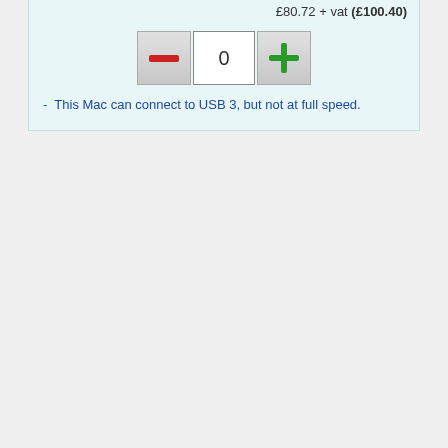£80.72 + vat (£100.40)
[Figure (screenshot): Quantity selector with minus button (red dash), quantity input showing 0, and plus button (green cross)]
- This Mac can connect to USB 3, but not at full speed.